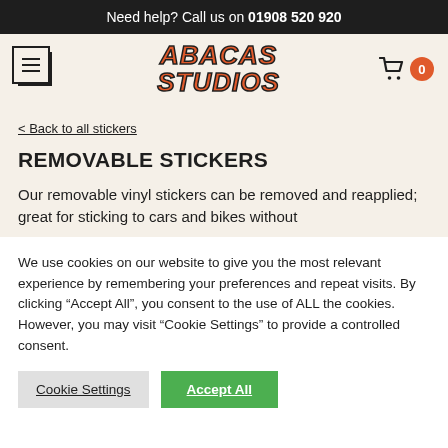Need help? Call us on 01908 520 920
[Figure (logo): Abacas Studios logo in orange bold italic text with dark outline, alongside hamburger menu icon and shopping cart icon with badge showing 0]
< Back to all stickers
REMOVABLE STICKERS
Our removable vinyl stickers can be removed and reapplied; great for sticking to cars and bikes without
We use cookies on our website to give you the most relevant experience by remembering your preferences and repeat visits. By clicking "Accept All", you consent to the use of ALL the cookies. However, you may visit "Cookie Settings" to provide a controlled consent.
Cookie Settings | Accept All